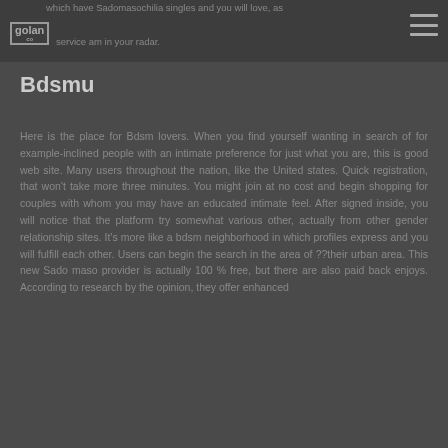which have Sadomasochilia singles and you will love, as service am in your radar.
Bdsmu
Here is the place for Bdsm lovers. When you find yourself wanting in search of for example-inclined people with an intimate preference for just what you are, this is good web site. Many users throughout the nation, like the United states. Quick registration, that won’t take more three minutes. You might join at no cost and begin shopping for couples with whom you may have an educated intimate feel. After signed inside, you will notice that the platform try somewhat various other, actually from other gender relationship sites. It’s more like a bdsm neighborhood in which profiles express and you will fulfill each other. Users can begin the search in the area of ??their urban area. This new Sado maso provider is actually 100 % free, but there are also paid back enjoys. According to research by the opinion, they offer enhanced